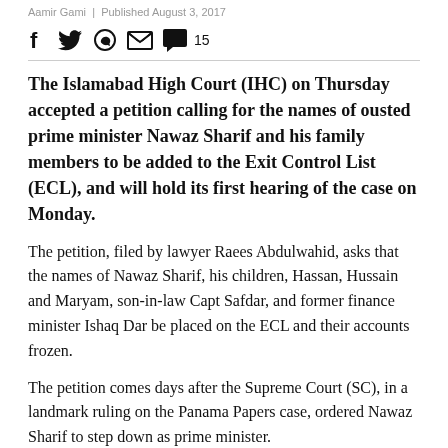Aamir Gami | Published August 3, 2017
Social share icons with 15 comments
The Islamabad High Court (IHC) on Thursday accepted a petition calling for the names of ousted prime minister Nawaz Sharif and his family members to be added to the Exit Control List (ECL), and will hold its first hearing of the case on Monday.
The petition, filed by lawyer Raees Abdulwahid, asks that the names of Nawaz Sharif, his children, Hassan, Hussain and Maryam, son-in-law Capt Safdar, and former finance minister Ishaq Dar be placed on the ECL and their accounts frozen.
The petition comes days after the Supreme Court (SC), in a landmark ruling on the Panama Papers case, ordered Nawaz Sharif to step down as prime minister.